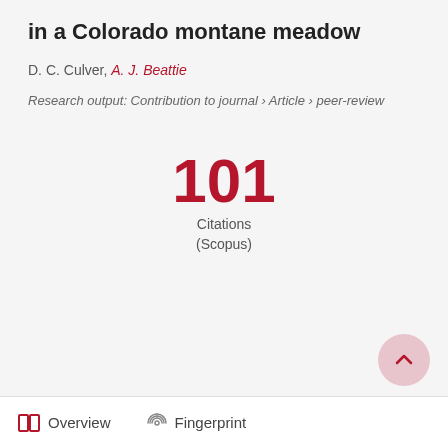in a Colorado montane meadow
D. C. Culver, A. J. Beattie
Research output: Contribution to journal › Article › peer-review
101 Citations (Scopus)
Overview   Fingerprint